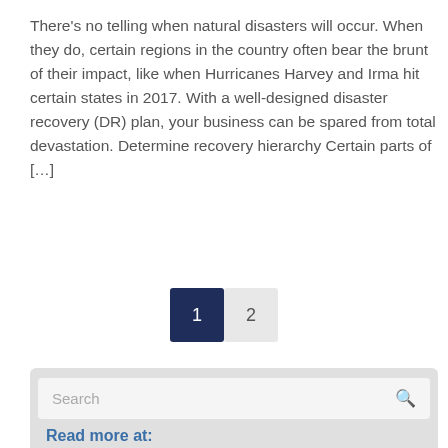There's no telling when natural disasters will occur. When they do, certain regions in the country often bear the brunt of their impact, like when Hurricanes Harvey and Irma hit certain states in 2017. With a well-designed disaster recovery (DR) plan, your business can be spared from total devastation. Determine recovery hierarchy Certain parts of […]
Read more
1  2
Search
Read more at:
Lyle Epstein's Systems Engineer Blog